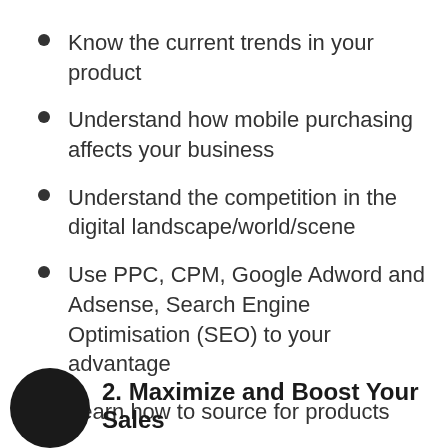Know the current trends in your product
Understand how mobile purchasing affects your business
Understand the competition in the digital landscape/world/scene
Use PPC, CPM, Google Adword and Adsense, Search Engine Optimisation (SEO) to your advantage
Learn how to source for products
2. Maximize and Boost Your Sales